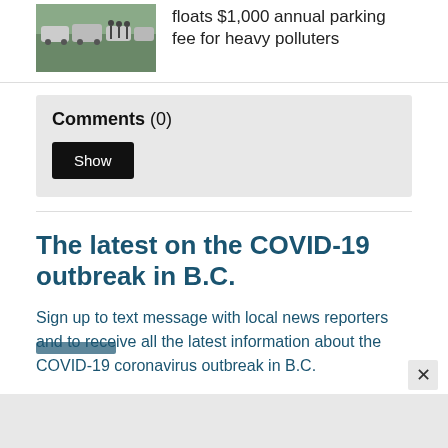[Figure (photo): Cars parked along a street, people walking nearby]
floats $1,000 annual parking fee for heavy polluters
Comments (0)
Show
The latest on the COVID-19 outbreak in B.C.
Sign up to text message with local news reporters and to receive all the latest information about the COVID-19 coronavirus outbreak in B.C.